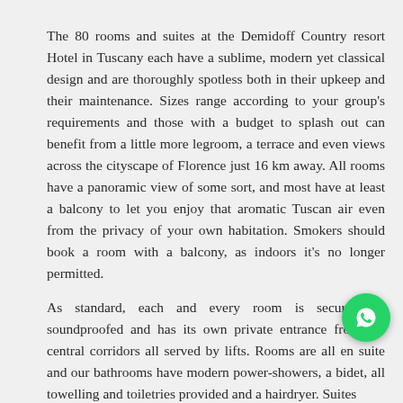The 80 rooms and suites at the Demidoff Country resort Hotel in Tuscany each have a sublime, modern yet classical design and are thoroughly spotless both in their upkeep and their maintenance. Sizes range according to your group's requirements and those with a budget to splash out can benefit from a little more legroom, a terrace and even views across the cityscape of Florence just 16 km away. All rooms have a panoramic view of some sort, and most have at least a balcony to let you enjoy that aromatic Tuscan air even from the privacy of your own habitation. Smokers should book a room with a balcony, as indoors it's no longer permitted.
As standard, each and every room is secure and soundproofed and has its own private entrance from the central corridors all served by lifts. Rooms are all en suite and our bathrooms have modern power-showers, a bidet, all towelling and toiletries provided and a hairdryer. Suites
[Figure (logo): WhatsApp green circular logo button in the bottom right area]